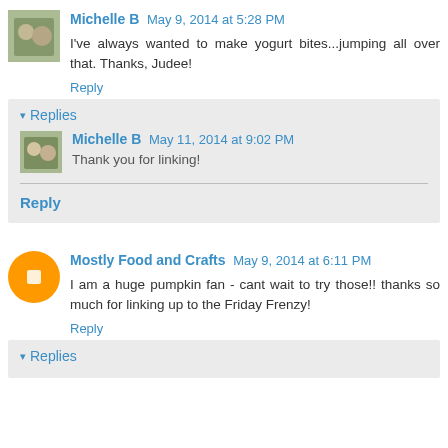Michelle B  May 9, 2014 at 5:28 PM
I've always wanted to make yogurt bites...jumping all over that. Thanks, Judee!
Reply
Replies
Michelle B  May 11, 2014 at 9:02 PM
Thank you for linking!
Reply
Mostly Food and Crafts  May 9, 2014 at 6:11 PM
I am a huge pumpkin fan - cant wait to try those!! thanks so much for linking up to the Friday Frenzy!
Reply
Replies